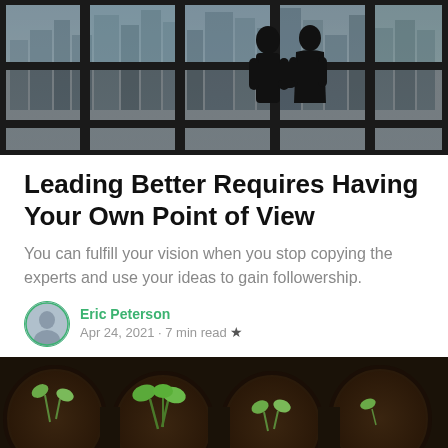[Figure (photo): Two silhouetted figures standing at large industrial windows overlooking a city skyline]
Leading Better Requires Having Your Own Point of View
You can fulfill your vision when you stop copying the experts and use your ideas to gain followership.
Eric Peterson
Apr 24, 2021 · 7 min read ★
[Figure (photo): Overhead view of small seedlings growing in dark round containers filled with soil]